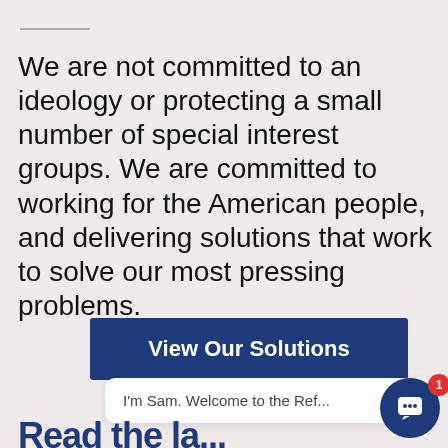We are not committed to an ideology or protecting a small number of special interest groups. We are committed to working for the American people, and delivering solutions that work to solve our most pressing problems.
[Figure (other): Dark blue button labeled 'View Our Solutions']
I'm Sam. Welcome to the Ref...
Read the la...